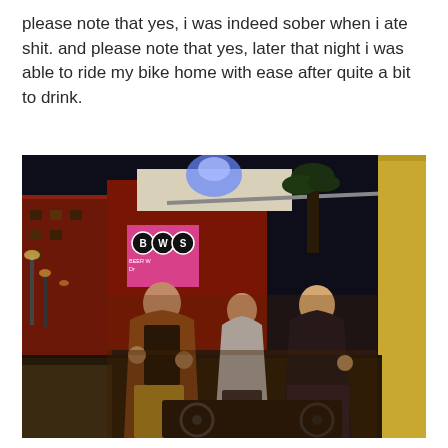please note that yes, i was indeed sober when i ate shit. and please note that yes, later that night i was able to ride my bike home with ease after quite a bit to drink.
[Figure (photo): Nighttime photo of three women posing and laughing in front of a BWS (Beer Wine Spirits) store. They appear to be near bicycles. The scene is lit with warm artificial lighting and a blue spotlight. A yellow/cream pillar is visible on the right. Street lights are visible in the background on the left.]